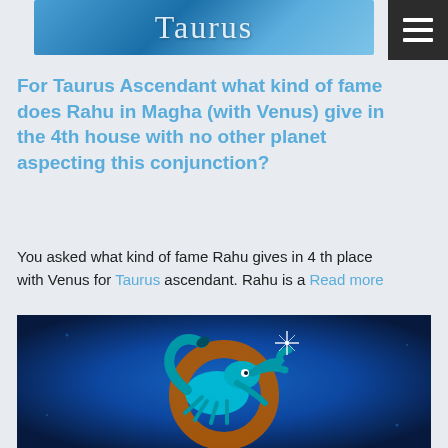[Figure (illustration): Taurus zodiac banner with blue textured background and 'Taurus' text in white serif font]
[Figure (other): Hamburger menu icon button with three white horizontal lines on dark background]
For Taurus Ascendant what kind of fame does Rahu in Magha (with Venus) give in the 4th house with no other planet aspecting this conjunction?
You asked what kind of fame Rahu gives in 4 th place with Venus for Taurus ascendant. Rahu is a Read more
[Figure (illustration): Scorpio zodiac sign illustration — a cyan/turquoise stylized scorpion with claws and tail curled on a dark blue background with a golden circular ring and a starburst sparkle effect]